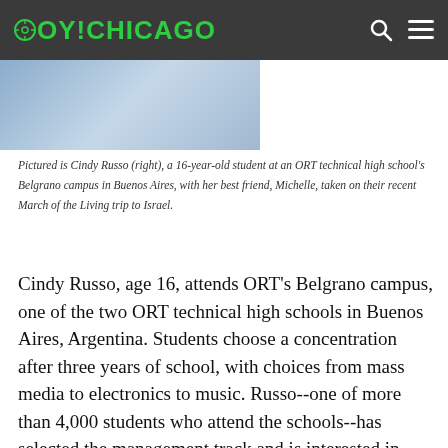OY!CHICAGO
[Figure (photo): Partial photo of two people, cropped at the bottom of the header area]
Pictured is Cindy Russo (right), a 16-year-old student at an ORT technical high school's Belgrano campus in Buenos Aires, with her best friend, Michelle, taken on their recent March of the Living trip to Israel.
Cindy Russo, age 16, attends ORT's Belgrano campus, one of the two ORT technical high schools in Buenos Aires, Argentina. Students choose a concentration after three years of school, with choices from mass media to electronics to music. Russo--one of more than 4,000 students who attend the schools--has selected the management track and is interested in furthering her studies in business when she graduates next year. She loves the combination of choosing an area of interest